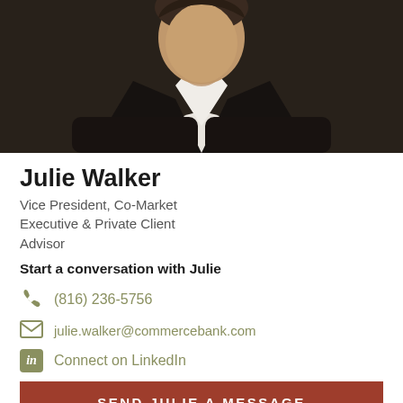[Figure (photo): Professional headshot photo of Julie Walker in a dark suit with white shirt, upper body and face visible, cropped at top]
Julie Walker
Vice President, Co-Market Executive & Private Client Advisor
Start a conversation with Julie
(816) 236-5756
julie.walker@commercebank.com
Connect on LinkedIn
SEND JULIE A MESSAGE